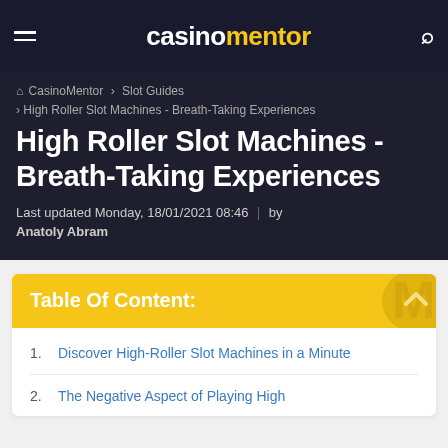casinomentor
CasinoMentor > Slot Guides > High Roller Slot Machines - Breath-Taking Experiences
High Roller Slot Machines - Breath-Taking Experiences
Last updated Monday, 18/01/2021 08:46 | by Anatoly Abram
Table Of Content:
Discover High-Roller Slot Machines in a Minute
The Negative Aspect of Playing High